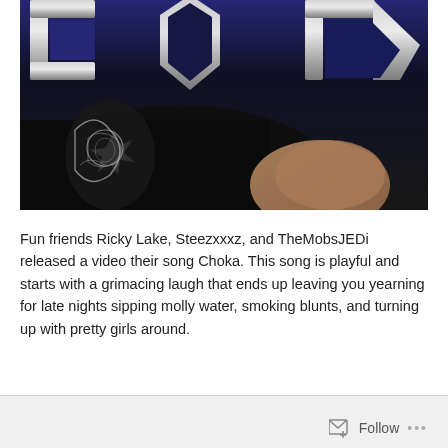[Figure (photo): Close-up photo of a person wearing a black patterned/tattooed sleeve shirt, with large chrome/silver 3D letters visible at the top of the image against a dark blue and black background. The person's face is partially visible, tilted back.]
Fun friends Ricky Lake, Steezxxxz, and TheMobsJEDi released a video their song Choka. This song is playful and starts with a grimacing laugh that ends up leaving you yearning for late nights sipping molly water, smoking blunts, and turning up with pretty girls around.
Follow ...